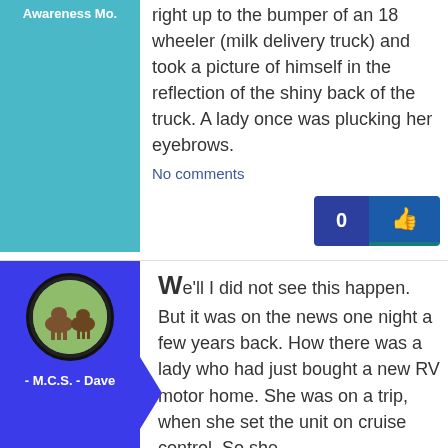[Figure (illustration): Teal/blue square avatar block with text 'Awareness Mo.' in white]
right up to the bumper of an 18 wheeler (milk delivery truck) and took a picture of himself in the reflection of the shiny back of the truck. A lady once was plucking her eyebrows.
No comments
[Figure (infographic): Like button bar: dark blue rectangle with '0' and blue thumb icon]
[Figure (photo): Blue avatar column with circular profile picture of horses in a field, arrow shape pointing right, username '- M.C.S. - Dave']
We'll I did not see this happen. But it was on the news one night a few years back. How there was a lady who had just bought a new RV motor home. She was on a trip, when she set the unit on cruise control. So she